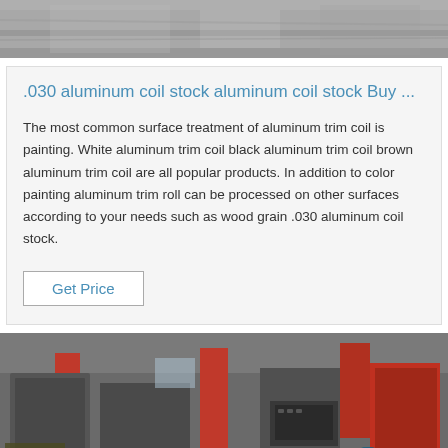[Figure (photo): Top portion of an industrial/metallic scene, appears to be a floor or machinery in grey tones]
.030 aluminum coil stock aluminum coil stock Buy ...
The most common surface treatment of aluminum trim coil is painting. White aluminum trim coil black aluminum trim coil brown aluminum trim coil are all popular products. In addition to color painting aluminum trim roll can be processed on other surfaces according to your needs such as wood grain .030 aluminum coil stock.
Get Price
[Figure (photo): Industrial manufacturing facility interior showing machinery with red columns, conveyor systems, and factory equipment. A blue gear/logo watermark with 'TOP' text is visible in the lower right area.]